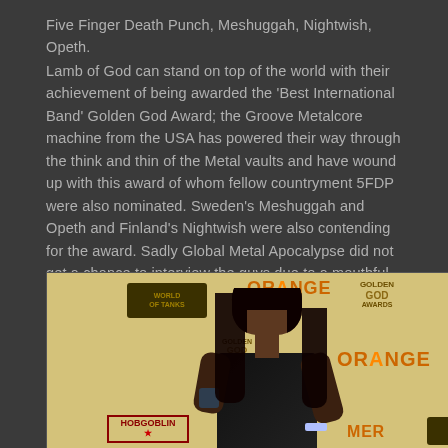Five Finger Death Punch, Meshuggah, Nightwish, Opeth.
Lamb of God can stand on top of the world with their achievement of being awarded the 'Best International Band' Golden God Award; the Groove Metalcore machine from the USA has powered their way through the think and thin of the Metal vaults and have wound up with this award of whom fellow countryment 5FDP were also nominated. Sweden's Meshuggah and Opeth and Finland's Nightwish were also contending for the award. Sadly Global Metal Apocalypse did not get a chance to interview the guys due to a mouthful of beer at the time.
[Figure (photo): Photo of a woman posing in front of a Golden God Awards / Orange Amplifiers sponsor backdrop wall. The backdrop features repeated logos of Orange, Golden God Awards, Hobgoblin, and World of Tanks.]